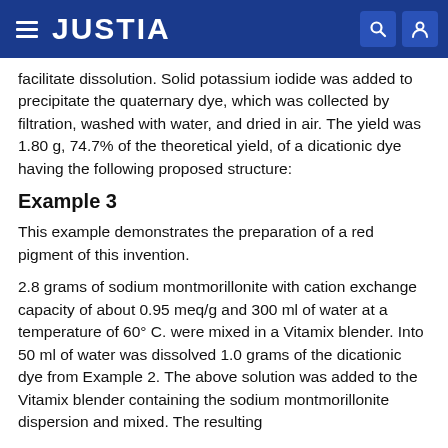JUSTIA
facilitate dissolution. Solid potassium iodide was added to precipitate the quaternary dye, which was collected by filtration, washed with water, and dried in air. The yield was 1.80 g, 74.7% of the theoretical yield, of a dicationic dye having the following proposed structure:
Example 3
This example demonstrates the preparation of a red pigment of this invention.
2.8 grams of sodium montmorillonite with cation exchange capacity of about 0.95 meq/g and 300 ml of water at a temperature of 60° C. were mixed in a Vitamix blender. Into 50 ml of water was dissolved 1.0 grams of the dicationic dye from Example 2. The above solution was added to the Vitamix blender containing the sodium montmorillonite dispersion and mixed. The resulting